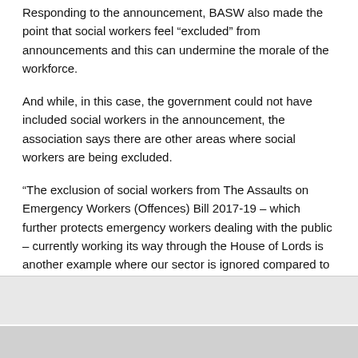Responding to the announcement, BASW also made the point that social workers feel “excluded” from announcements and this can undermine the morale of the workforce.
And while, in this case, the government could not have included social workers in the announcement, the association says there are other areas where social workers are being excluded.
“The exclusion of social workers from The Assaults on Emergency Workers (Offences) Bill 2017-19 – which further protects emergency workers dealing with the public – currently working its way through the House of Lords is another example where our sector is ignored compared to fellow public sector workers,” BASW said.